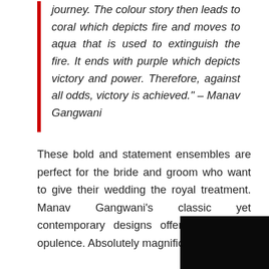journey. The colour story then leads to coral which depicts fire and moves to aqua that is used to extinguish the fire. It ends with purple which depicts victory and power. Therefore, against all odds, victory is achieved." – Manav Gangwani
These bold and statement ensembles are perfect for the bride and groom who want to give their wedding the royal treatment. Manav Gangwani's classic yet contemporary designs offer unparalleled opulence. Absolutely magnificent.
[Figure (photo): Dark/black photograph in the bottom-right corner of the page, partially visible]